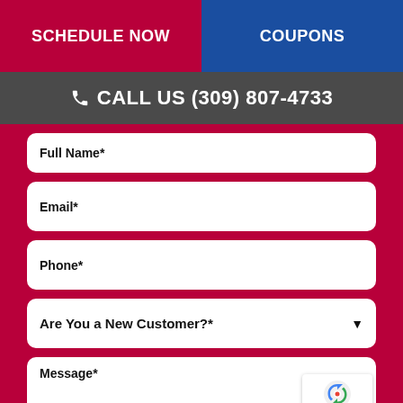SCHEDULE NOW
COUPONS
CALL US (309) 807-4733
Full Name*
Email*
Phone*
Are You a New Customer?*
Message*